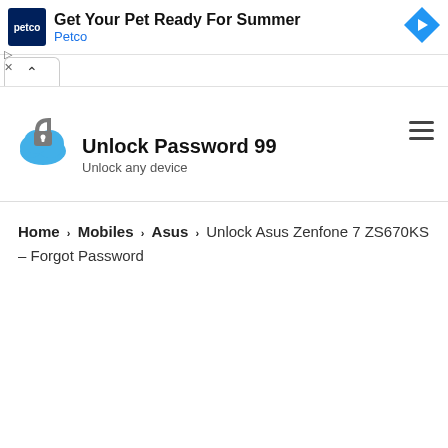[Figure (screenshot): Petco advertisement banner with navy blue logo square showing 'petco' text, a large text 'Get Your Pet Ready For Summer', blue 'Petco' subtext, and a blue diamond arrow icon on the right. Small play and close icons on the left.]
[Figure (illustration): Collapse/up-arrow button UI element]
[Figure (logo): Cloud lock icon: blue cloud with gray padlock on top, representing Unlock Password 99 app logo]
Unlock Password 99
Unlock any device
Home › Mobiles › Asus › Unlock Asus Zenfone 7 ZS670KS – Forgot Password